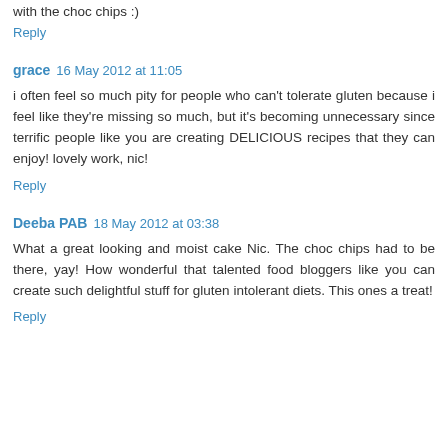with the choc chips :)
Reply
grace  16 May 2012 at 11:05
i often feel so much pity for people who can't tolerate gluten because i feel like they're missing so much, but it's becoming unnecessary since terrific people like you are creating DELICIOUS recipes that they can enjoy! lovely work, nic!
Reply
Deeba PAB  18 May 2012 at 03:38
What a great looking and moist cake Nic. The choc chips had to be there, yay! How wonderful that talented food bloggers like you can create such delightful stuff for gluten intolerant diets. This ones a treat!
Reply